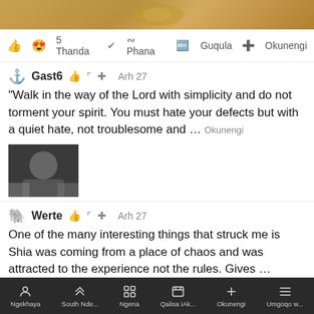[Figure (photo): Top banner image showing golden decorative background]
👍 😍 5 Thanda   🔗 Phana   🔤 Guqula   ➕ Okunengi
Gast6   👍   🔤   ➕   Arh 27
"Walk in the way of the Lord with simplicity and do not torment your spirit. You must hate your defects but with a quiet hate, not troublesome and … Okunengi
[Figure (photo): Small thumbnail image of a person in dark clothing]
Werte   👍   🔤   ➕   Arh 27
One of the many interesting things that struck me is Shia was coming from a place of chaos and was attracted to the experience not the rules. Gives … Okunengi
13 imibono eminengi
Faka umbono
en.cartoon
Ngekhaya   South Nde...   Ngena   Qalisa iAk...   Okunengi   Umgoqo w...